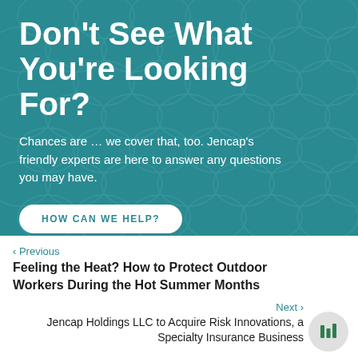Don't See What You're Looking For?
Chances are … we cover that, too. Jencap's friendly experts are here to answer any questions you may have.
HOW CAN WE HELP?
‹ Previous
Feeling the Heat? How to Protect Outdoor Workers During the Hot Summer Months
Next ›
Jencap Holdings LLC to Acquire Risk Innovations, a Specialty Insurance Business